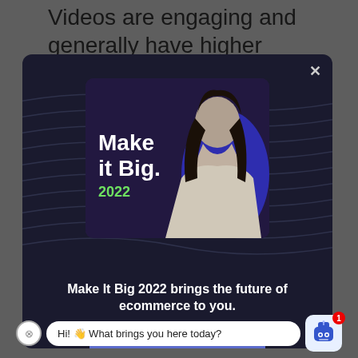Videos are engaging and generally have higher conversion rates when building your audience and email list
[Figure (screenshot): Modal popup on dark background showing 'Make it Big 2022' event advertisement with a woman's photo, event title text, bottom tagline 'Make It Big 2022 brings the future of ecommerce to you.', a register for free button, and a chat bot bubble saying 'Hi! 👋 What brings you here today?']